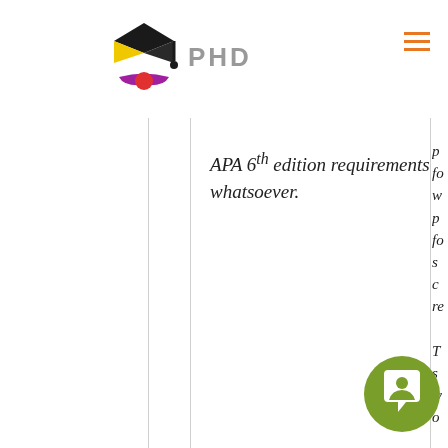[Figure (logo): PHD essay writing service logo with graduation cap icon and text 'PHD']
APA 6th edition requirements whatsoever.
p fo w p fo s c re T s w o a